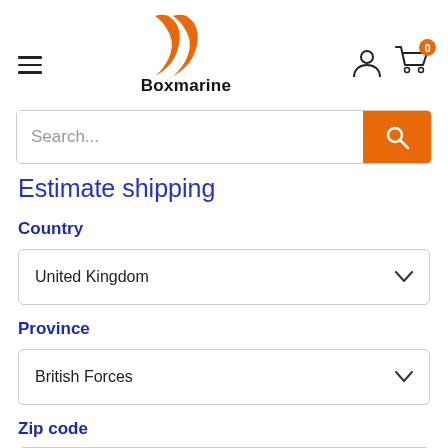[Figure (logo): Boxmarine logo with orange double-chevron/wave icon above the text 'Boxmarine' in bold black]
Search...
Estimate shipping
Country
United Kingdom
Province
British Forces
Zip code